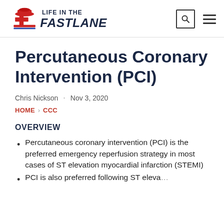LIFE IN THE FASTLANE
Percutaneous Coronary Intervention (PCI)
Chris Nickson · Nov 3, 2020
HOME > CCC
OVERVIEW
Percutaneous coronary intervention (PCI) is the preferred emergency reperfusion strategy in most cases of ST elevation myocardial infarction (STEMI)
PCI is also preferred following ST elevation...